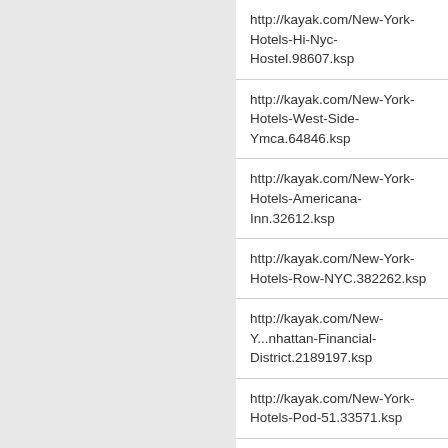| URL |  |
| --- | --- |
| http://kayak.com/New-York-Hotels-Hi-Nyc-Hostel.98607.ksp |  |
| http://kayak.com/New-York-Hotels-West-Side-Ymca.64846.ksp |  |
| http://kayak.com/New-York-Hotels-Americana-Inn.32612.ksp |  |
| http://kayak.com/New-York-Hotels-Row-NYC.382262.ksp |  |
| http://kayak.com/New-Y...nhattan-Financial-District.2189197.ksp |  |
| http://kayak.com/New-York-Hotels-Pod-51.33571.ksp |  |
| http://kayak.com/New-Y...k-City---Financial-District.341101.ksp |  |
| http://kayak.com/New-Y...rk-Hotels-Pod-Times-Square.2961389.ksp |  |
| http://kayak.com/New-Y...els-Night-Hotel-Times-Square.31578.ksp |  |